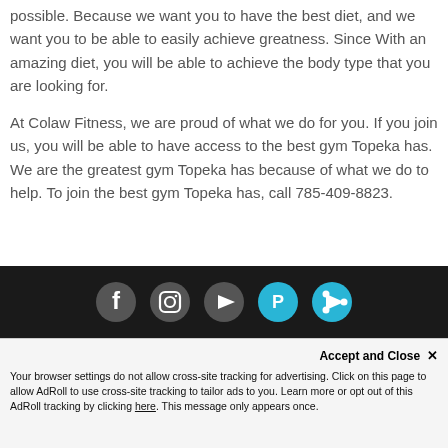possible. Because we want you to have the best diet, and we want you to be able to easily achieve greatness. Since With an amazing diet, you will be able to achieve the body type that you are looking for.
At Colaw Fitness, we are proud of what we do for you. If you join us, you will be able to have access to the best gym Topeka has. We are the greatest gym Topeka has because of what we do to help. To join the best gym Topeka has, call 785-409-8823.
[Figure (other): Footer with social media icons: Facebook, Instagram, YouTube, Parler, and another circular icon on dark background]
Accept and Close ✕
Your browser settings do not allow cross-site tracking for advertising. Click on this page to allow AdRoll to use cross-site tracking to tailor ads to you. Learn more or opt out of this AdRoll tracking by clicking here. This message only appears once.